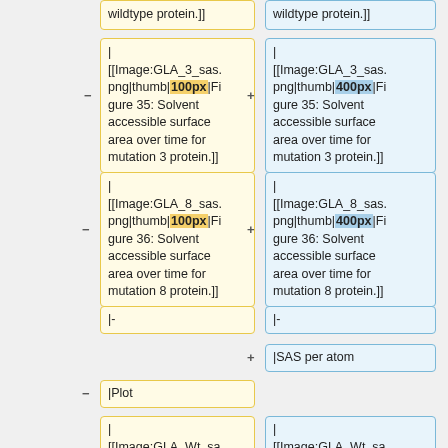wildtype protein.]]
wildtype protein.]]
| [[Image:GLA_3_sas.png|thumb|100px|Figure 35: Solvent accessible surface area over time for mutation 3 protein.]]
| [[Image:GLA_3_sas.png|thumb|400px|Figure 35: Solvent accessible surface area over time for mutation 3 protein.]]
| [[Image:GLA_8_sas.png|thumb|100px|Figure 36: Solvent accessible surface area over time for mutation 8 protein.]]
| [[Image:GLA_8_sas.png|thumb|400px|Figure 36: Solvent accessible surface area over time for mutation 8 protein.]]
|-
|-
|SAS per atom
|Plot
| [[Image:GLA_Wt_sasa.png|thumb|100px
| [[Image:GLA_Wt_sasa.png|thumb|400px